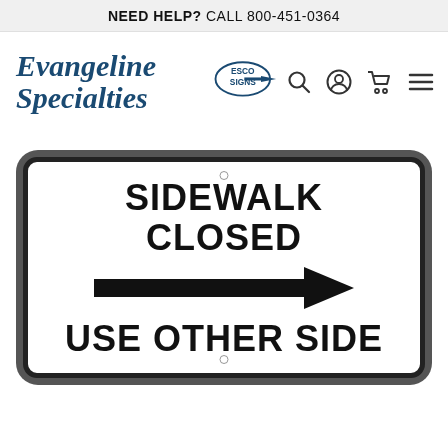NEED HELP? CALL 800-451-0364
[Figure (logo): Evangeline Specialties with ESCO SIGNS badge logo and navigation icons (search, user, cart, menu)]
[Figure (photo): Road sign: SIDEWALK CLOSED with right-pointing arrow, USE OTHER SIDE, white background with black border and rounded corners, mounted on gray background]